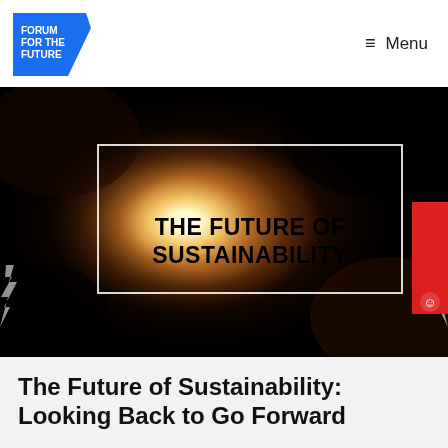[Figure (logo): Forum for the Future logo – blue angular pentagon shape with white text reading FORUM FOR THE FUTURE]
≡ Menu
[Figure (photo): Dark atmospheric hero image showing a glowing bright white orb/sphere with amber and brown swirling smoke or fabric around it. A white-bordered rectangle overlaid in the center contains bold black text: THE FUTURE OF SUSTAINABILITY. A red Feedback tab is visible on the right edge. Lightning bolt icons on left and right edges.]
The Future of Sustainability: Looking Back to Go Forward